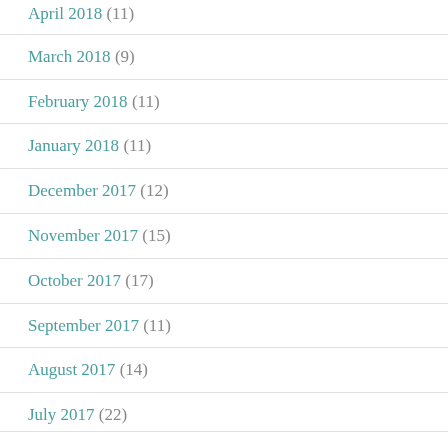April 2018 (11)
March 2018 (9)
February 2018 (11)
January 2018 (11)
December 2017 (12)
November 2017 (15)
October 2017 (17)
September 2017 (11)
August 2017 (14)
July 2017 (22)